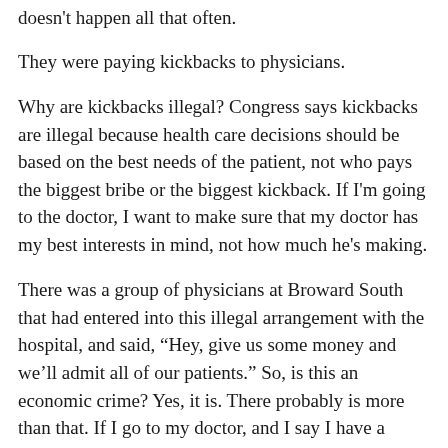doesn't happen all that often.
They were paying kickbacks to physicians.
Why are kickbacks illegal? Congress says kickbacks are illegal because health care decisions should be based on the best needs of the patient, not who pays the biggest bribe or the biggest kickback. If I'm going to the doctor, I want to make sure that my doctor has my best interests in mind, not how much he's making.
There was a group of physicians at Broward South that had entered into this illegal arrangement with the hospital, and said, “Hey, give us some money and we’ll admit all of our patients.” So, is this an economic crime? Yes, it is. There probably is more than that. If I go to my doctor, and I say I have a stomach ache, I expect my doctor’s going to say, “Take some Alka Seltzer, take some Pepto Bismol. If it's not